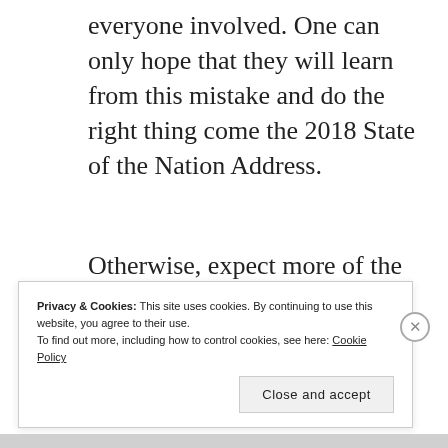everyone involved. One can only hope that they will learn from this mistake and do the right thing come the 2018 State of the Nation Address.
Otherwise, expect more of the same jokes from critics and haters alike. That said, good luck GMA in correcting this failure.
Privacy & Cookies: This site uses cookies. By continuing to use this website, you agree to their use.
To find out more, including how to control cookies, see here: Cookie Policy

Close and accept